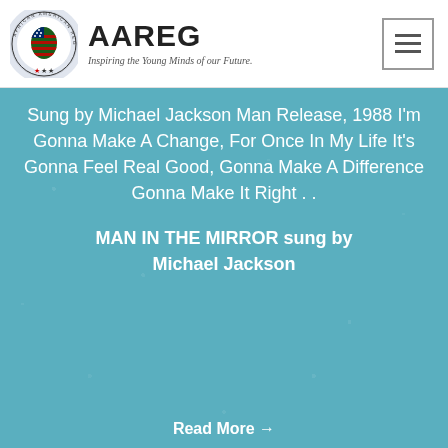AAREG — Inspiring the Young Minds of our Future.
Sung by Michael Jackson Man Release, 1988 I'm Gonna Make A Change, For Once In My Life It's Gonna Feel Real Good, Gonna Make A Difference Gonna Make It Right . .
MAN IN THE MIRROR sung by Michael Jackson
Read More →